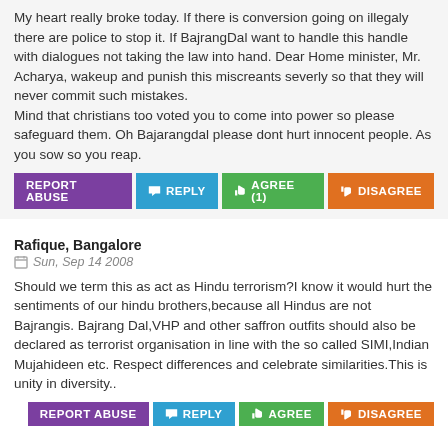My heart really broke today. If there is conversion going on illegaly there are police to stop it. If BajrangDal want to handle this handle with dialogues not taking the law into hand. Dear Home minister, Mr. Acharya, wakeup and punish this miscreants severly so that they will never commit such mistakes. Mind that christians too voted you to come into power so please safeguard them. Oh Bajarangdal please dont hurt innocent people. As you sow so you reap.
Rafique, Bangalore
Sun, Sep 14 2008
Should we term this as act as Hindu terrorism?I know it would hurt the sentiments of our hindu brothers,because all Hindus are not Bajrangis. Bajrang Dal,VHP and other saffron outfits should also be declared as terrorist organisation in line with the so called SIMI,Indian Mujahideen etc. Respect differences and celebrate similarities.This is unity in diversity..
abdul kareem, mangalore /Dubai
Sun, Sep 14 2008